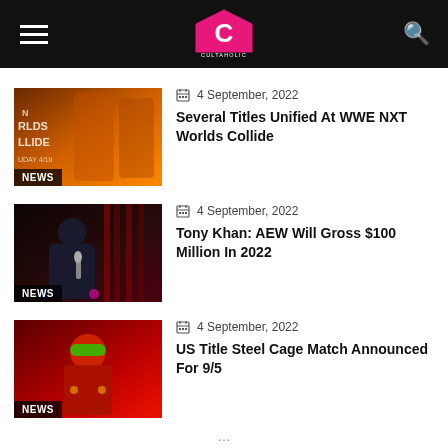Cultaholic
[Figure (photo): Thumbnail for WWE NXT Worlds Collide news article with NEWS badge]
4 September, 2022
Several Titles Unified At WWE NXT Worlds Collide
[Figure (photo): Thumbnail for Tony Khan AEW news article with NEWS badge]
4 September, 2022
Tony Khan: AEW Will Gross $100 Million In 2022
[Figure (photo): Thumbnail for US Title Steel Cage Match news article with NEWS badge]
4 September, 2022
US Title Steel Cage Match Announced For 9/5